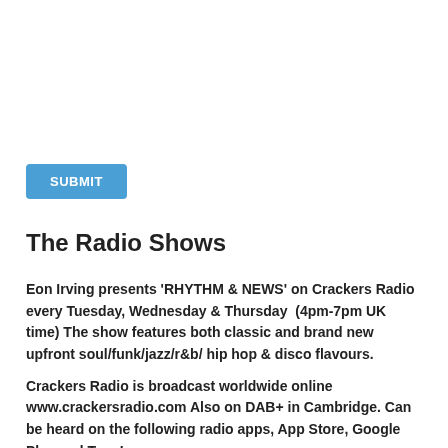[Figure (other): Blue SUBMIT button]
The Radio Shows
Eon Irving presents 'RHYTHM & NEWS' on Crackers Radio every Tuesday, Wednesday & Thursday  (4pm-7pm UK time) The show features both classic and brand new upfront soul/funk/jazz/r&b/ hip hop & disco flavours.
Crackers Radio is broadcast worldwide online www.crackersradio.com Also on DAB+ in Cambridge. Can be heard on the following radio apps, App Store, Google Play and TuneIn.
Archives
September 2018
Categories
All